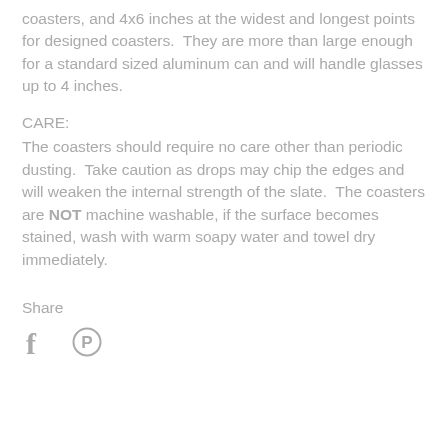coasters, and 4x6 inches at the widest and longest points for designed coasters.  They are more than large enough for a standard sized aluminum can and will handle glasses up to 4 inches.
CARE:
The coasters should require no care other than periodic dusting.  Take caution as drops may chip the edges and will weaken the internal strength of the slate.  The coasters are NOT machine washable, if the surface becomes stained, wash with warm soapy water and towel dry immediately.
Share
[Figure (illustration): Facebook and Pinterest social share icons]